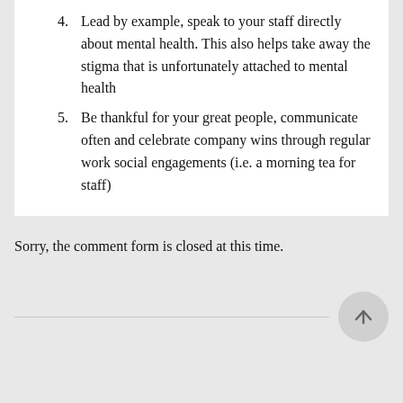4. Lead by example, speak to your staff directly about mental health. This also helps take away the stigma that is unfortunately attached to mental health
5. Be thankful for your great people, communicate often and celebrate company wins through regular work social engagements (i.e. a morning tea for staff)
Sorry, the comment form is closed at this time.